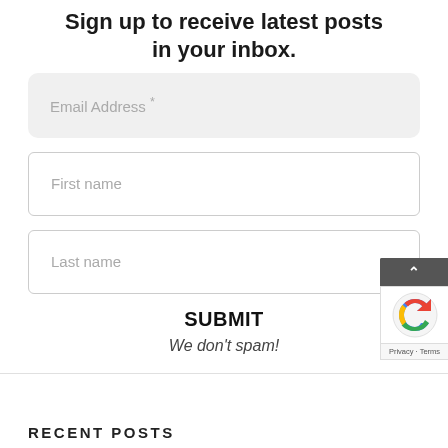Sign up to receive latest posts in your inbox.
Email Address *
First name
Last name
SUBMIT
We don't spam!
RECENT POSTS